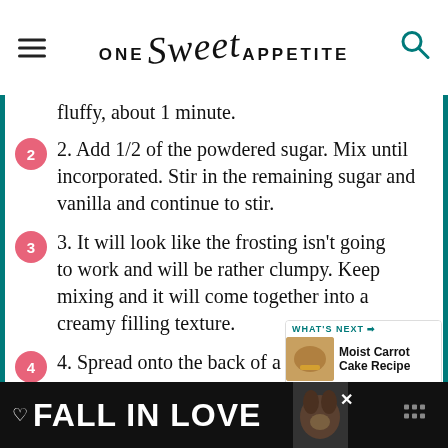ONE Sweet APPETITE
fluffy, about 1 minute.
2. Add 1/2 of the powdered sugar. Mix until incorporated. Stir in the remaining sugar and vanilla and continue to stir.
3. It will look like the frosting isn't going to work and will be rather clumpy. Keep mixing and it will come together into a creamy filling texture.
4. Spread onto the back of a cooled cookie. Sandwich with a second and enjoy!
[Figure (other): WHAT'S NEXT banner with Moist Carrot Cake Recipe thumbnail]
[Figure (other): FALL IN LOVE advertisement banner at bottom of page]